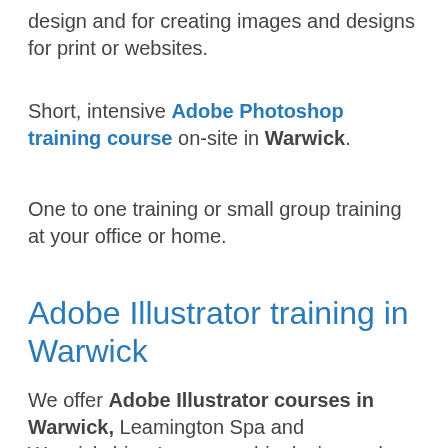design and for creating images and designs for print or websites.
Short, intensive Adobe Photoshop training course on-site in Warwick.
One to one training or small group training at your office or home.
Adobe Illustrator training in Warwick
We offer Adobe Illustrator courses in Warwick, Leamington Spa and Warwickshire. Learn graphic design and how to create your own graphics and artwork. Beginners, intermediate and advanced courses, with flexible course content to better meet